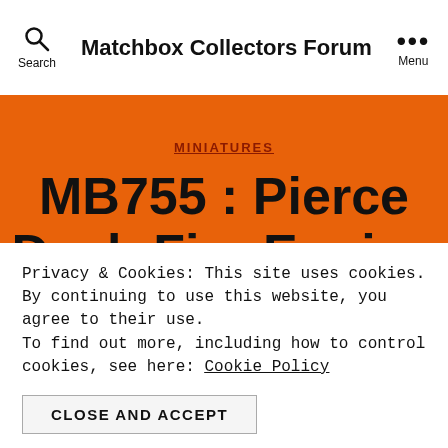Matchbox Collectors Forum
MINIATURES
MB755 : Pierce Dash Fire Engine
No Comments
Privacy & Cookies: This site uses cookies. By continuing to use this website, you agree to their use. To find out more, including how to control cookies, see here: Cookie Policy
CLOSE AND ACCEPT